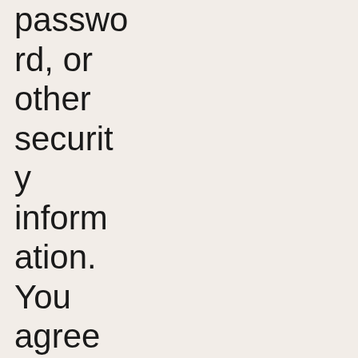password, or other security information. You agree to notify us immediately of any unauthorized access to or